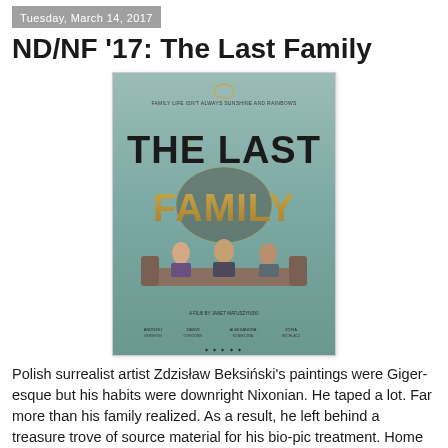Tuesday, March 14, 2017
ND/NF '17: The Last Family
[Figure (photo): Movie poster for 'The Last Family' showing three people sitting on a couch against a teal/green background, with large bold text 'THE LAST FAMILY' overlaid.]
Polish surrealist artist Zdzisław Beksiński's paintings were Giger-esque but his habits were downright Nixonian. He taped a lot. Far more than his family realized. As a result, he left behind a treasure trove of source material for his bio-pic treatment. Home is where the dysfunction is for the Beksińskis, as viewers witness in no uncertain terms throughout Jan P. Matuszynski's painfully faithful drama, The Last Family (trailer here), which screens during this year's New Directors/New Films.